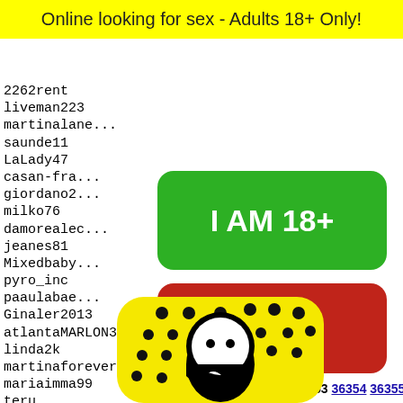Online looking for sex - Adults 18+ Only!
2262rent
liveman223
martinalane...
saunde11
LaLady47
casan-fra...
giordano2...
milko76
damorealec...
jeanes81
Mixedbaby...
pyro_inc
paaulabae...
Ginaler2013
atlantaMARLON33
linda2k
martinaforever2005
mariaimma99
teru
rebec...
senior...
yngrvb...
A_GA_R...
whatah...
bullgh...
[Figure (infographic): Green button reading I AM 18+]
[Figure (infographic): Red button reading EXIT]
36351 36352 36353 36354 36355
[Figure (photo): Snapchat ghost logo on yellow background with black dots]